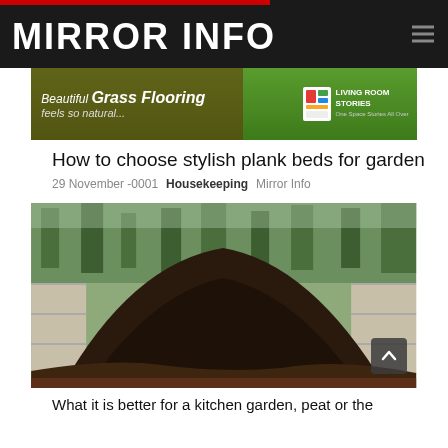MIRROR INFO
[Figure (screenshot): Advertisement banner for 'Beautiful Grass Flooring feels so natural...' with Living Room Stories logo on green grass background]
How to choose stylish plank beds for garden
29 November -0001   Housekeeping   Mirror Info
[Figure (photo): Large mound of dark soil/compost piled against concrete block retaining wall with trees in background]
What it is better for a kitchen garden, peat or the